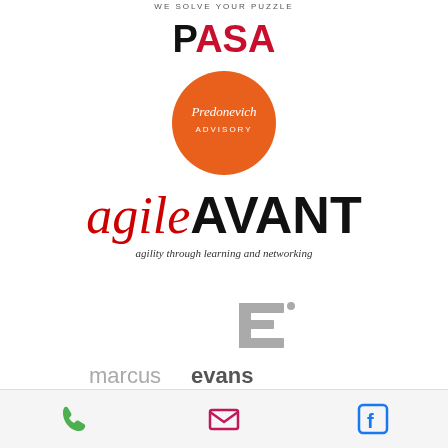WE SOLVE YOUR PUZZLE
[Figure (logo): PASA logo with black P and red ASA letters]
[Figure (logo): Predonevich Advisory orange circle logo with white script text]
[Figure (logo): agileAVANT logo - red italic agile text and bold black AVANT, tagline: agility through learning and networking]
[Figure (logo): marcus evans logo with stylized E icon and gray text]
[Figure (infographic): Footer bar with phone icon, email icon, and Facebook icon]